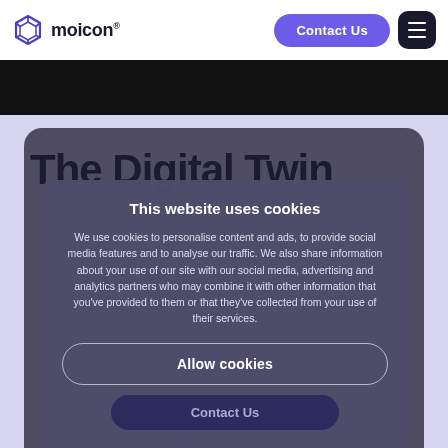moicon® — Contact Us [menu button]
The Digital Twin
This website uses cookies
We use cookies to personalise content and ads, to provide social media features and to analyse our traffic. We also share information about your use of our site with our social media, advertising and analytics partners who may combine it with other information that you've provided to them or that they've collected from your use of their services.
Allow cookies
Contact Us
[Figure (logo): Moicon logo at the bottom of the page]